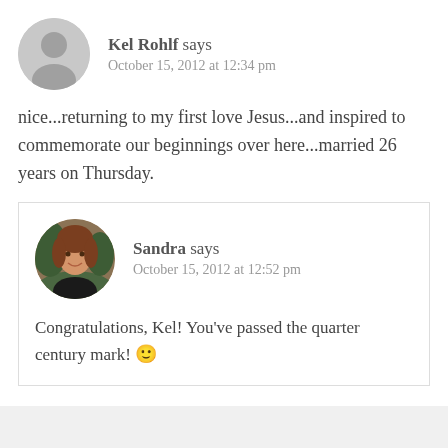Kel Rohlf says
October 15, 2012 at 12:34 pm
nice...returning to my first love Jesus...and inspired to commemorate our beginnings over here...married 26 years on Thursday.
Sandra says
October 15, 2012 at 12:52 pm
Congratulations, Kel! You've passed the quarter century mark! 🙂